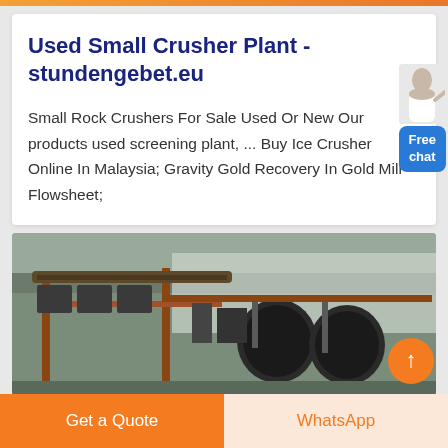Used Small Crusher Plant - stundengebet.eu
Small Rock Crushers For Sale Used Or New Our products used screening plant, ... Buy Ice Crusher Online In Malaysia; Gravity Gold Recovery In Gold Mill Flowsheet;
[Figure (photo): Photo of a small crusher plant with heavy industrial machinery including conveyors and crusher units on a hillside with forested mountains in the background]
Get a Quote
WhatsApp